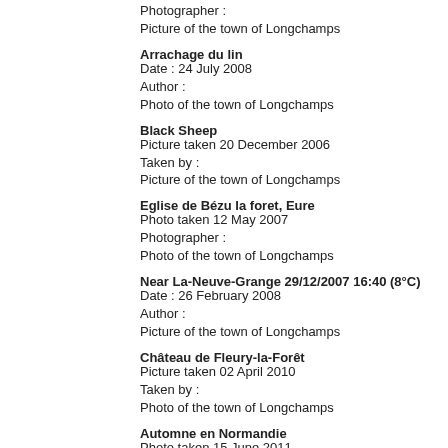Photographer :
Picture of the town of Longchamps
Arrachage du lin
Date : 24 July 2008
Author :
Photo of the town of Longchamps
Black Sheep
Picture taken 20 December 2006
Taken by :
Picture of the town of Longchamps
Eglise de Bézu la foret, Eure
Photo taken 12 May 2007
Photographer :
Photo of the town of Longchamps
Near La-Neuve-Grange 29/12/2007 16:40 (8°C)
Date : 26 February 2008
Author :
Picture of the town of Longchamps
Château de Fleury-la-Forêt
Picture taken 02 April 2010
Taken by :
Photo of the town of Longchamps
Automne en Normandie
Photo taken 15 June 2011
Photographer :
Picture of the town of Longchamps
Dreamlike
Date : 20 December 2006
Author :
Photo of the town of Longchamps
France France Etc Etc ...